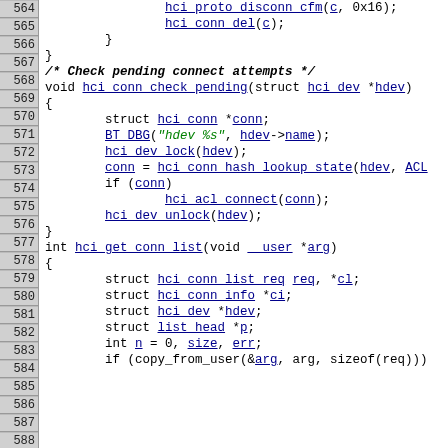[Figure (screenshot): Source code listing in C showing lines 564-594, including functions hci_conn_check_pending and hci_get_conn_list with line numbers in grey column on left and syntax-highlighted code on right.]